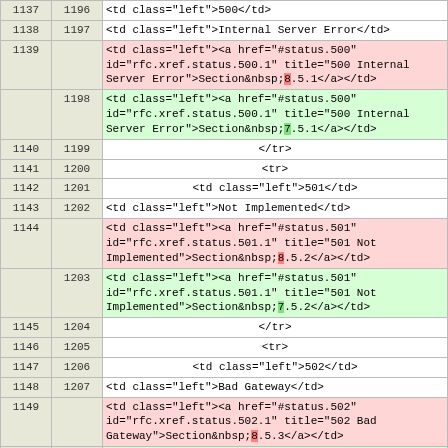|  |  | code |
| --- | --- | --- |
| 1137 | 1196 | <td class="left">500</td> |
| 1138 | 1197 | <td class="left">Internal Server Error</td> |
| 1139 |  | <td class="left"><a href="#status.500" id="rfc.xref.status.500.1" title="500 Internal Server Error">Section&nbsp;8.5.1</a></td> |
|  | 1198 | <td class="left"><a href="#status.500" id="rfc.xref.status.500.1" title="500 Internal Server Error">Section&nbsp;7.5.1</a></td> |
| 1140 | 1199 | </tr> |
| 1141 | 1200 | <tr> |
| 1142 | 1201 | <td class="left">501</td> |
| 1143 | 1202 | <td class="left">Not Implemented</td> |
| 1144 |  | <td class="left"><a href="#status.501" id="rfc.xref.status.501.1" title="501 Not Implemented">Section&nbsp;8.5.2</a></td> |
|  | 1203 | <td class="left"><a href="#status.501" id="rfc.xref.status.501.1" title="501 Not Implemented">Section&nbsp;7.5.2</a></td> |
| 1145 | 1204 | </tr> |
| 1146 | 1205 | <tr> |
| 1147 | 1206 | <td class="left">502</td> |
| 1148 | 1207 | <td class="left">Bad Gateway</td> |
| 1149 |  | <td class="left"><a href="#status.502" id="rfc.xref.status.502.1" title="502 Bad Gateway">Section&nbsp;8.5.3</a></td> |
|  | 1208 | <td class="left"><a href="#status.502" id="rfc.xref.status.502.1" |